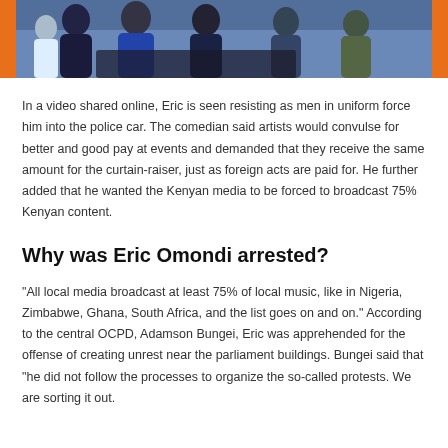[Figure (photo): Photo of men in uniform, one in blue jacket, appearing to force someone into a police vehicle, with an orange border frame around the image.]
In a video shared online, Eric is seen resisting as men in uniform force him into the police car. The comedian said artists would convulse for better and good pay at events and demanded that they receive the same amount for the curtain-raiser, just as foreign acts are paid for. He further added that he wanted the Kenyan media to be forced to broadcast 75% Kenyan content.
Why was Eric Omondi arrested?
“All local media broadcast at least 75% of local music, like in Nigeria, Zimbabwe, Ghana, South Africa, and the list goes on and on.” According to the central OCPD, Adamson Bungei, Eric was apprehended for the offense of creating unrest near the parliament buildings. Bungei said that “he did not follow the processes to organize the so-called protests. We are sorting it out.